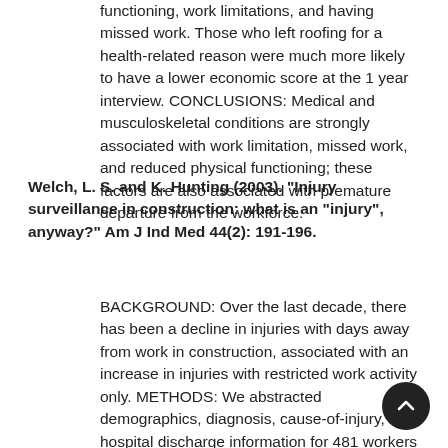functioning, work limitations, and having missed work. Those who left roofing for a health-related reason were much more likely to have a lower economic score at the 1 year interview. CONCLUSIONS: Medical and musculoskeletal conditions are strongly associated with work limitation, missed work, and reduced physical functioning; these factors are also associated with premature departure from the workforce.
Welch, L. S. and K. Hunting (2003). "Injury surveillance in construction: what is an "injury", anyway?" Am J Ind Med 44(2): 191-196.
BACKGROUND: Over the last decade, there has been a decline in injuries with days away from work in construction, associated with an increase in injuries with restricted work activity only. METHODS: We abstracted demographics, diagnosis, cause-of-injury, and hospital discharge information for 481 workers